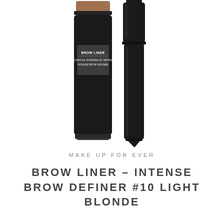[Figure (photo): Two black cosmetic brow liner pencil/pen products side by side on white background. Left product has a brown shade cap exposed at top. Right product is a thin pen applicator with black cap. Both have black cylindrical bodies with white label text reading BROW LINER / INTENSE BROW DEFINER.]
MAKE UP FOR EVER
BROW LINER - INTENSE BROW DEFINER #10 LIGHT BLONDE